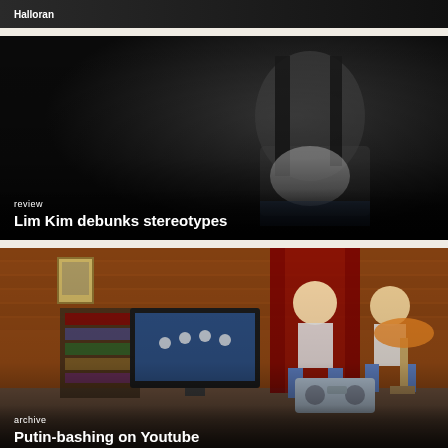[Figure (photo): Partially visible dark image with white text partially cropped at top]
[Figure (photo): Young Asian woman with long black hair sitting in a dark setting, wearing a white t-shirt]
review
Lim Kim debunks stereotypes
[Figure (photo): Animated cartoon figures with Putin and Medvedev faces in a living room setting with a TV, bookshelves, and a lamp]
archive
Putin-bashing on Youtube